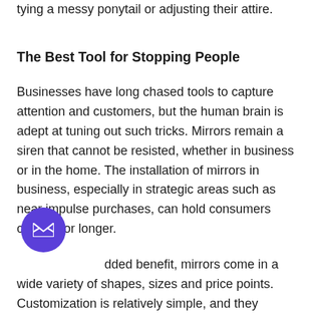tying a messy ponytail or adjusting their attire.
The Best Tool for Stopping People
Businesses have long chased tools to capture attention and customers, but the human brain is adept at tuning out such tricks. Mirrors remain a siren that cannot be resisted, whether in business or in the home. The installation of mirrors in business, especially in strategic areas such as near impulse purchases, can hold consumers captive for longer.
dded benefit, mirrors come in a wide variety of shapes, sizes and price points. Customization is relatively simple, and they